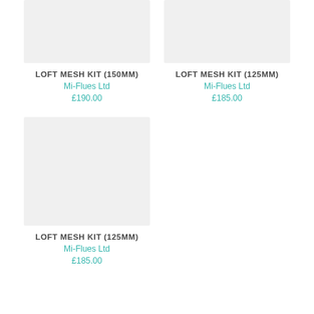[Figure (photo): Product image placeholder for Loft Mesh Kit 150mm, light grey rectangle]
LOFT MESH KIT (150MM)
Mi-Flues Ltd
£190.00
[Figure (photo): Product image placeholder for Loft Mesh Kit 125mm, light grey rectangle]
LOFT MESH KIT (125MM)
Mi-Flues Ltd
£185.00
[Figure (photo): Product image placeholder for Loft Mesh Kit 125mm second listing, light grey rectangle]
LOFT MESH KIT (125MM)
Mi-Flues Ltd
£185.00